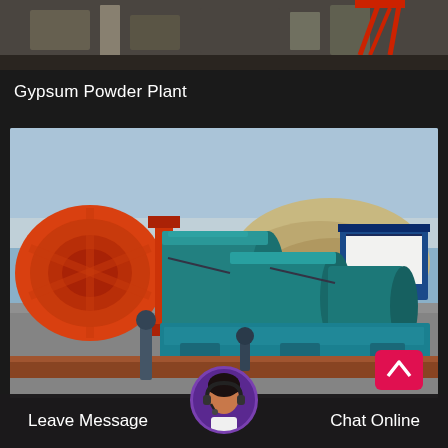[Figure (photo): Top portion of an industrial/construction site photo with equipment and scaffolding]
Gypsum Powder Plant
[Figure (photo): Industrial gypsum powder plant machinery including a large red/orange rotating drum mill, teal/blue cylindrical separators, blue control unit building, sand/gypsum material pile in background, and piping in foreground]
Leave Message
Chat Online